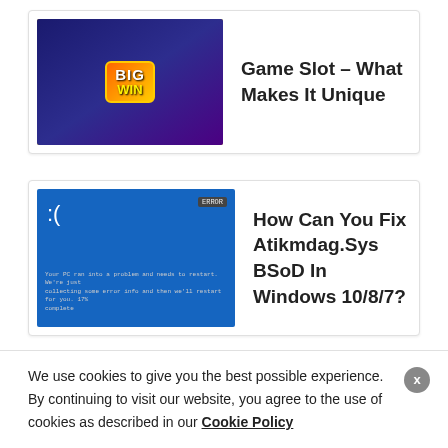[Figure (screenshot): Game slot screenshot with BIG WIN badge on dark purple/gold background]
Game Slot – What Makes It Unique
[Figure (screenshot): Blue Screen of Death (BSoD) Windows error screen]
How Can You Fix Atikmdag.Sys BSoD In Windows 10/8/7?
[Figure (photo): Gigabyte X570 Aorus Elite motherboard on dark background]
Gigabyte X570 Aorus Elite Review – Gaming Motherboard
We use cookies to give you the best possible experience. By continuing to visit our website, you agree to the use of cookies as described in our Cookie Policy